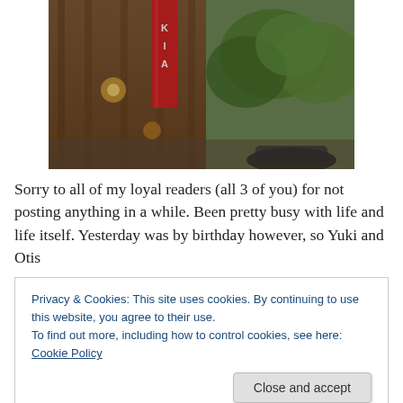[Figure (photo): Street-level photo of a building exterior with a red vertical banner/sign, warm evening light, trees and a sidewalk visible to the right.]
Sorry to all of my loyal readers (all 3 of you) for not posting anything in a while. Been pretty busy with life and life itself. Yesterday was by birthday however, so Yuki and Otis
Privacy & Cookies: This site uses cookies. By continuing to use this website, you agree to their use.
To find out more, including how to control cookies, see here: Cookie Policy
Close and accept